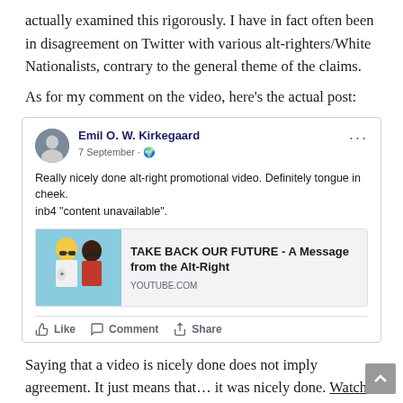actually examined this rigorously. I have in fact often been in disagreement on Twitter with various alt-righters/White Nationalists, contrary to the general theme of the claims.
As for my comment on the video, here's the actual post:
[Figure (screenshot): Facebook post screenshot by Emil O. W. Kirkegaard dated 7 September. Post text reads: 'Really nicely done alt-right promotional video. Definitely tongue in cheek. inb4 "content unavailable".' With a link preview for a YouTube video titled 'TAKE BACK OUR FUTURE - A Message from the Alt-Right'. Social actions: Like, Comment, Share.]
Saying that a video is nicely done does not imply agreement. It just means that… it was nicely done. Watch the video for yourself and see if you don't also think it is nicely done.